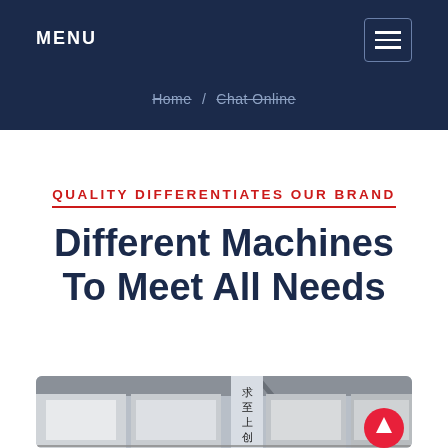MENU
Home / Chat Online
QUALITY DIFFERENTIATES OUR BRAND
Different Machines To Meet All Needs
[Figure (photo): Factory interior photo showing industrial machines with Chinese text signage visible on a pillar]